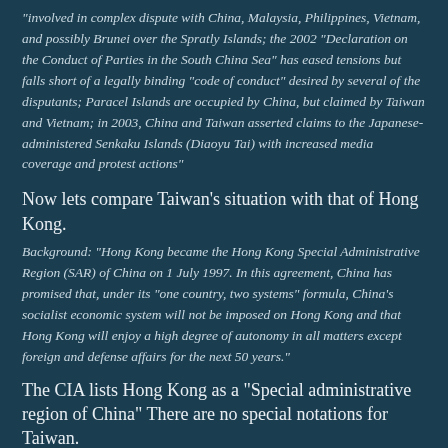"involved in complex dispute with China, Malaysia, Philippines, Vietnam, and possibly Brunei over the Spratly Islands; the 2002 "Declaration on the Conduct of Parties in the South China Sea" has eased tensions but falls short of a legally binding "code of conduct" desired by several of the disputants; Paracel Islands are occupied by China, but claimed by Taiwan and Vietnam; in 2003, China and Taiwan asserted claims to the Japanese-administered Senkaku Islands (Diaoyu Tai) with increased media coverage and protest actions"
Now lets compare Taiwan's situation with that of Hong Kong.
Background: "Hong Kong became the Hong Kong Special Administrative Region (SAR) of China on 1 July 1997. In this agreement, China has promised that, under its "one country, two systems" formula, China's socialist economic system will not be imposed on Hong Kong and that Hong Kong will enjoy a high degree of autonomy in all matters except foreign and defense affairs for the next 50 years."
The CIA lists Hong Kong as a "Special administrative region of China" There are no special notations for Taiwan.